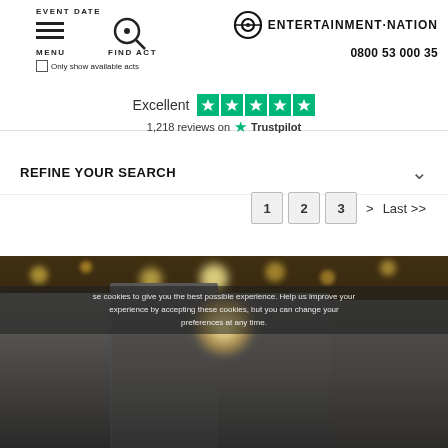EVENT DATE
Only show available acts
MENU   FIND ACT
[Figure (logo): Entertainment Nation logo with circular target icon]
0800 53 000 35
Excellent  1,218 reviews on Trustpilot
REFINE YOUR SEARCH
1  2  3  >  Last >>
[Figure (photo): Four young male performers in formal attire (waistcoats, bow ties, suspenders) standing in front of a stage with string lights, smiling at the camera. Cookie consent overlay text visible.]